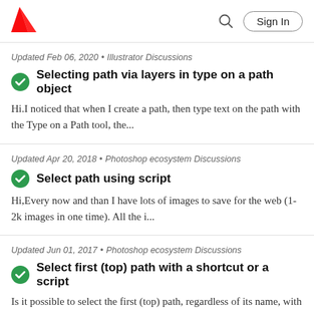Adobe | Sign In
Updated Feb 06, 2020 • Illustrator Discussions
Selecting path via layers in type on a path object
Hi.I noticed that when I create a path, then type text on the path with the Type on a Path tool, the...
Updated Apr 20, 2018 • Photoshop ecosystem Discussions
Select path using script
Hi,Every now and than I have lots of images to save for the web (1-2k images in one time). All the i...
Updated Jun 01, 2017 • Photoshop ecosystem Discussions
Select first (top) path with a shortcut or a script
Is it possible to select the first (top) path, regardless of its name, with a shortcut or a script?N...
Updated Sep 25, 2021 • Illustrator Discussions